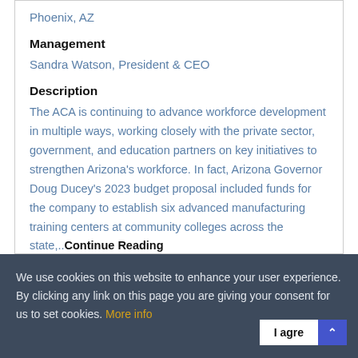Phoenix, AZ
Management
Sandra Watson, President & CEO
Description
The ACA is continuing to advance workforce development in multiple ways, working closely with the private sector, government, and education partners on key initiatives to strengthen Arizona's workforce. In fact, Arizona Governor Doug Ducey's 2023 budget proposal included funds for the company to establish six advanced manufacturing training centers at community colleges across the state,..Continue Reading
We use cookies on this website to enhance your user experience. By clicking any link on this page you are giving your consent for us to set cookies. More info